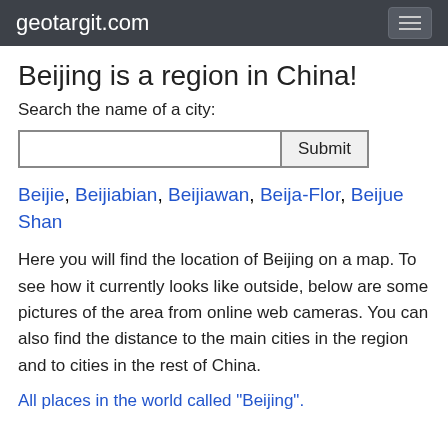geotargit.com
Beijing is a region in China!
Search the name of a city:
Beijie, Beijiabian, Beijiawan, Beija-Flor, Beijue Shan
Here you will find the location of Beijing on a map. To see how it currently looks like outside, below are some pictures of the area from online web cameras. You can also find the distance to the main cities in the region and to cities in the rest of China.
All places in the world called "Beijing".